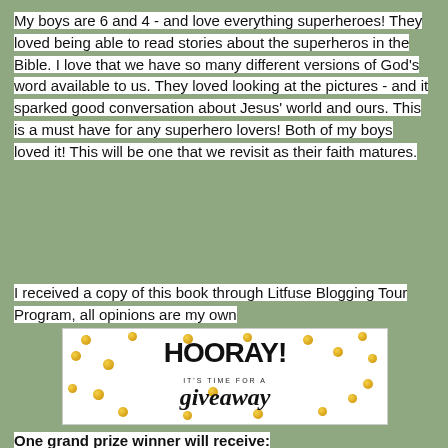My boys are 6 and 4 - and love everything superheroes! They loved being able to read stories about the superheros in the Bible. I love that we have so many different versions of God's word available to us. They loved looking at the pictures - and it sparked good conversation about Jesus' world and ours. This is a must have for any superhero lovers! Both of my boys loved it! This will be one that we revisit as their faith matures.
I received a copy of this book through Litfuse Blogging Tour Program, all opinions are my own
[Figure (illustration): Giveaway graphic with 'HOORAY! IT'S TIME FOR A giveaway' text in bold handwritten style on white background with gold polka dots scattered around]
One grand prize winner will receive: